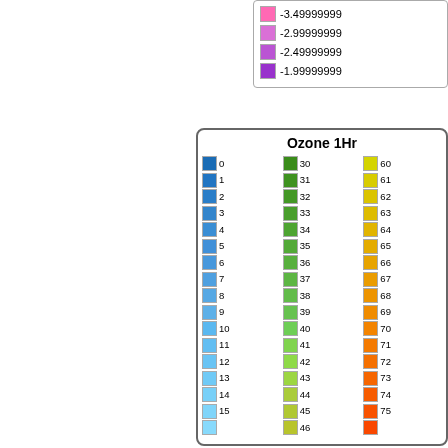[Figure (other): Partial legend panel (top-right) showing color swatches for values: -3.49999999, -2.99999999, -2.49999999, -1.99999999 with pink/magenta/purple swatches]
[Figure (other): Ozone 1Hr legend box showing color-coded entries numbered 0-15 (blue shades), 30-46 (green shades), and 60-75 (yellow to orange shades), with more entries cut off at bottom]